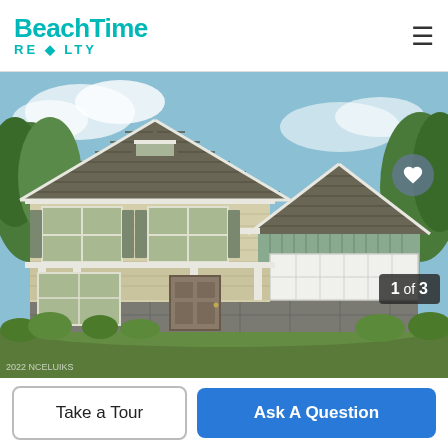Beach Time Realty
[Figure (photo): Front exterior rendering of a two-story craftsman-style house with beige siding, green accent board-and-batten on the garage section, dark shingle roof, two-car garage, covered front porch, and stone base. Trees and sky in background.]
1 of 3
Take a Tour
Ask A Question